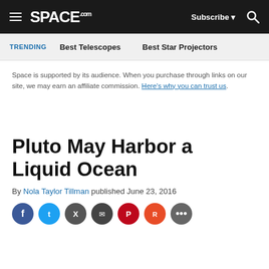SPACE.com — Subscribe | Search
TRENDING  Best Telescopes  Best Star Projectors
Space is supported by its audience. When you purchase through links on our site, we may earn an affiliate commission. Here's why you can trust us.
Pluto May Harbor a Liquid Ocean
By Nola Taylor Tillman published June 23, 2016